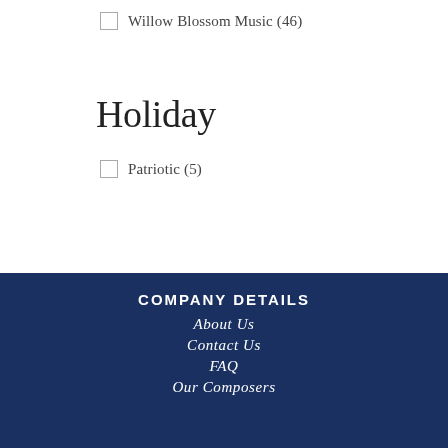Willow Blossom Music (46)
Holiday
Patriotic (5)
Top Picks
Barnhouse Standard Repertoire (2)
COMPANY DETAILS
About Us
Contact Us
FAQ
Our Composers